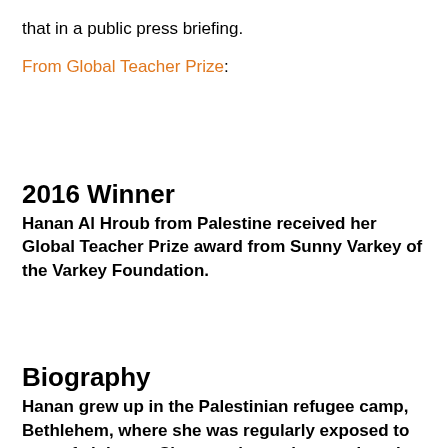that in a public press briefing.
From Global Teacher Prize:
2016 Winner
Hanan Al Hroub from Palestine received her Global Teacher Prize award from Sunny Varkey of the Varkey Foundation.
Biography
Hanan grew up in the Palestinian refugee camp, Bethlehem, where she was regularly exposed to acts of violence. She went into primary education after her children were left deeply traumatised by a shooting incident they witnessed on their way home from school. Her experiences in meetings and consultations to